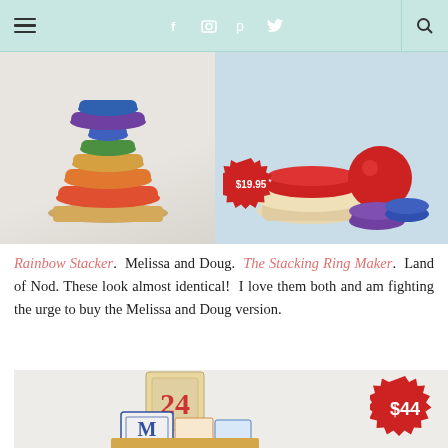Navigation header with hamburger menu, social icons (f, camera, p, bird), and search icon
[Figure (photo): Left: Rainbow Stacker toy by Melissa and Doug - colorful stacked rings on wooden base. Right: The Stacking Ring Maker by Land of Nod - scattered colorful rings on light blue background with $19.95 price badge]
Rainbow Stacker. Melissa and Doug. The Stacking Ring Maker. Land of Nod. These look almost identical! I love them both and am fighting the urge to buy the Melissa and Doug version.
[Figure (photo): Wooden alphabet/number blocks stacked, showing block with '24' and block with 'M', with $44 red price badge in top right]